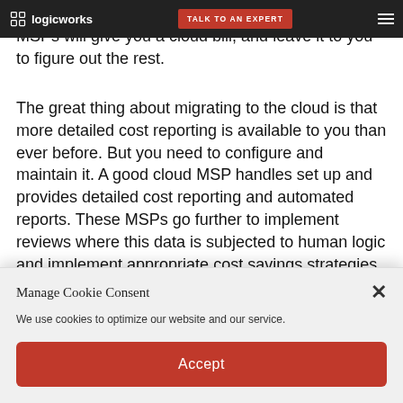logicworks | TALK TO AN EXPERT
infrastructure costs are changing over time. Typical MSPs will give you a cloud bill, and leave it to you to figure out the rest.
The great thing about migrating to the cloud is that more detailed cost reporting is available to you than ever before. But you need to configure and maintain it. A good cloud MSP handles set up and provides detailed cost reporting and automated reports. These MSPs go further to implement reviews where this data is subjected to human logic and implement appropriate cost savings strategies. For example,
Manage Cookie Consent
We use cookies to optimize our website and our service.
Accept